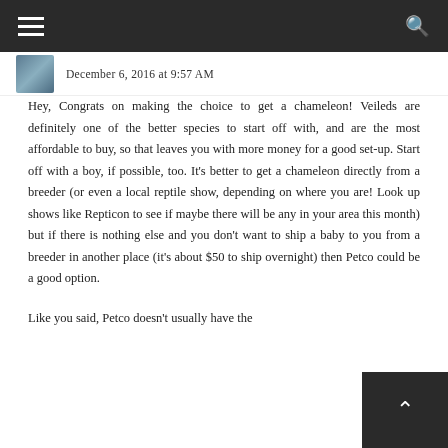≡  [search icon]
December 6, 2016 at 9:57 AM
Hey, Congrats on making the choice to get a chameleon! Veileds are definitely one of the better species to start off with, and are the most affordable to buy, so that leaves you with more money for a good set-up. Start off with a boy, if possible, too. It's better to get a chameleon directly from a breeder (or even a local reptile show, depending on where you are! Look up shows like Repticon to see if maybe there will be any in your area this month) but if there is nothing else and you don't want to ship a baby to you from a breeder in another place (it's about $50 to ship overnight) then Petco could be a good option.

Like you said, Petco doesn't usually have the